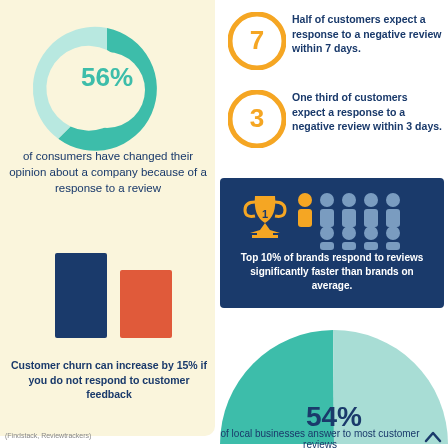[Figure (donut-chart): 56% donut chart]
of consumers have changed their opinion about a company because of a response to a review
[Figure (bar-chart): Customer churn bar chart]
Customer churn can increase by 15% if you do not respond to customer feedback
[Figure (infographic): Orange circle with number 7]
Half of customers expect a response to a negative review within 7 days.
[Figure (infographic): Orange circle with number 3]
One third of customers expect a response to a negative review within 3 days.
[Figure (infographic): Trophy icon with person icons on dark blue background. Top 10% of brands respond to reviews significantly faster than brands on average.]
[Figure (pie-chart): 54% pie chart]
of local businesses answer to most customer reviews
(Findstack, Reviewtrackers)